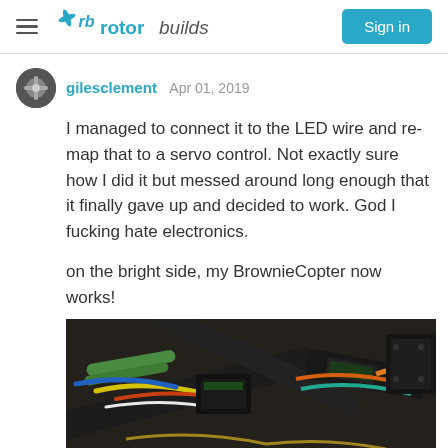rotorbuilds — Sign in
gilesclement  Apr 01, 2019
I managed to connect it to the LED wire and re-map that to a servo control. Not exactly sure how I did it but messed around long enough that it finally gave up and decided to work. God I fucking hate electronics.

on the bright side, my BrownieCopter now works!
[Figure (photo): Close-up photo of a drone frame with colorful wiring, zip ties, and electronic components including ESCs and motors, shot at an angle on a workbench.]